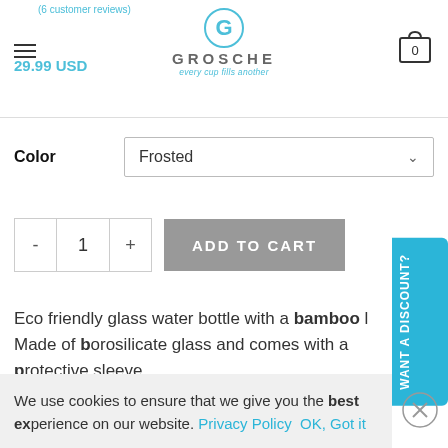(6 customer reviews) GROSCHE every cup fills another 29.99 USD
Color  Frosted
- 1 +  ADD TO CART
Eco friendly glass water bottle with a bamboo lid. Made of borosilicate glass and comes with a protective sleeve.
WANT A DISCOUNT?
We use cookies to ensure that we give you the best experience on our website. Privacy Policy  OK, Got it